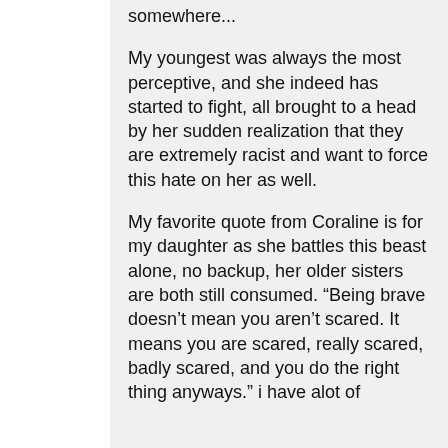somewhere... My youngest was always the most perceptive, and she indeed has started to fight, all brought to a head by her sudden realization that they are extremely racist and want to force this hate on her as well. My favorite quote from Coraline is for my daughter as she battles this beast alone, no backup, her older sisters are both still consumed. “Being brave doesn’t mean you aren’t scared. It means you are scared, really scared, badly scared, and you do the right thing anyways.” i have alot of